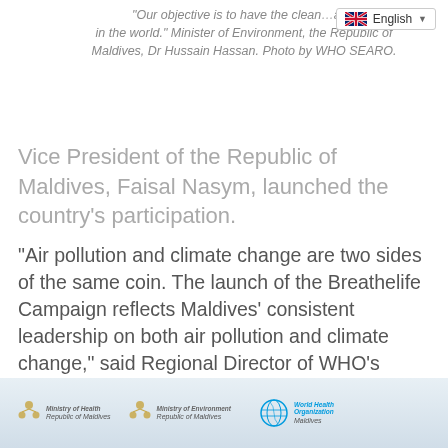"Our objective is to have the cleanest air quality in the world." Minister of Environment, the Republic of Maldives, Dr Hussain Hassan. Photo by WHO SEARO.
Vice President of the Republic of Maldives, Faisal Nasym, launched the country's participation.
"Air pollution and climate change are two sides of the same coin. The launch of the Breathelife Campaign reflects Maldives' consistent leadership on both air pollution and climate change," said Regional Director of WHO's Southeast Asia Regional Office, Dr Poonam Khetrapal Singh.
[Figure (photo): Banner showing logos of Ministry of Health Republic of Maldives, Ministry of Environment Republic of Maldives, and World Health Organization Maldives]